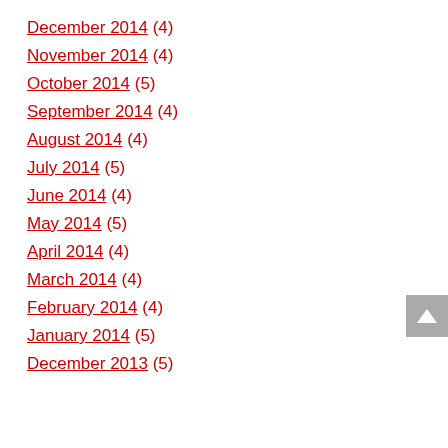December 2014 (4)
November 2014 (4)
October 2014 (5)
September 2014 (4)
August 2014 (4)
July 2014 (5)
June 2014 (4)
May 2014 (5)
April 2014 (4)
March 2014 (4)
February 2014 (4)
January 2014 (5)
December 2013 (5)